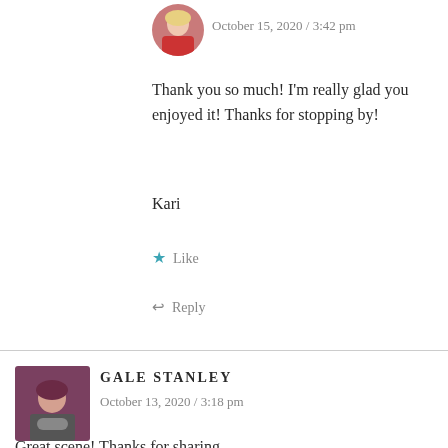[Figure (photo): Small circular avatar of a woman with blonde hair wearing a red top]
October 15, 2020 / 3:42 pm
Thank you so much! I'm really glad you enjoyed it! Thanks for stopping by!
Kari
★ Like
↩ Reply
[Figure (photo): Small square avatar of a person with short dark red hair holding a mug]
GALE STANLEY
October 13, 2020 / 3:18 pm
Great scene! Thanks for sharing.
★ Liked by 1 person
↩ Reply